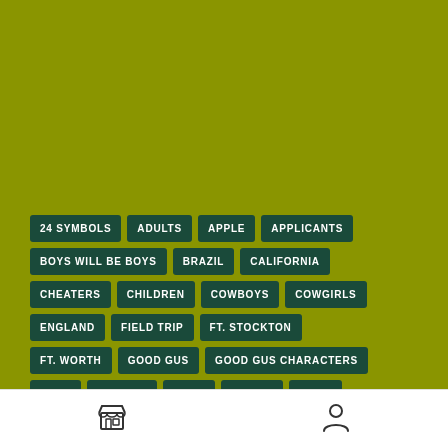24 SYMBOLS
ADULTS
APPLE
APPLICANTS
BOYS WILL BE BOYS
BRAZIL
CALIFORNIA
CHEATERS
CHILDREN
COWBOYS
COWGIRLS
ENGLAND
FIELD TRIP
FT. STOCKTON
FT. WORTH
GOOD GUS
GOOD GUS CHARACTERS
INDIA
IRELAND
ITALY
KINDLE
KOBO
LIBRARY
LIFE STYLE
MONEY
MULTICULTURAL
NOOK
OBSERVATION
OLD WEST
[Figure (illustration): Store/shop icon and person/user icon in bottom navigation bar]